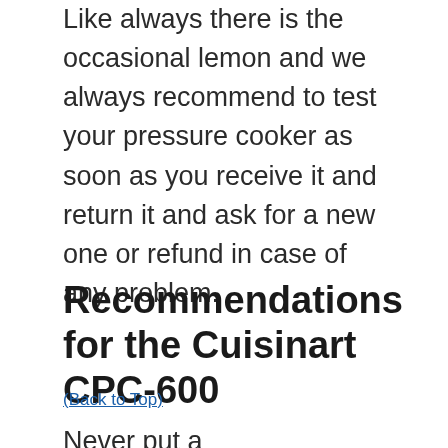Like always there is the occasional lemon and we always recommend to test your pressure cooker as soon as you receive it and return it and ask for a new one or refund in case of any problem.
Recommendations for the Cuisinart CPC-600
(Back to Top)
Never put a...